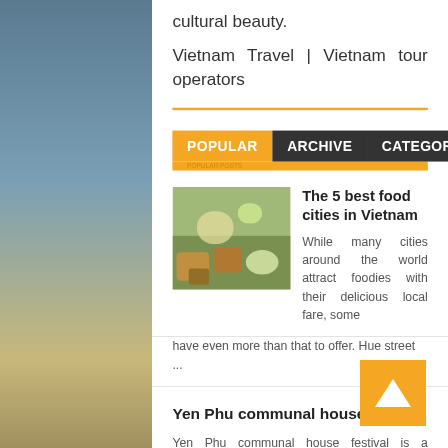cultural beauty.
Vietnam Travel | Vietnam tour operators
POPULAR   ARCHIVE   CATEGORY
[Figure (photo): Photo of Vietnamese food dishes on a table]
The 5 best food cities in Vietnam
While many cities around the world attract foodies with their delicious local fare, some have even more than that to offer. Hue street ...
Yen Phu communal house festival
Yen Phu communal house festival is a historical and cultural vestige which is listed in national vestiges since 1986. This is the only comm...